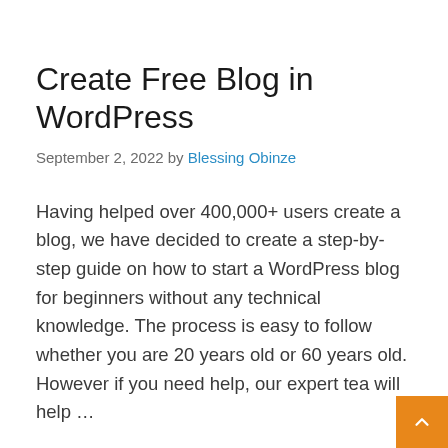Create Free Blog in WordPress
September 2, 2022 by Blessing Obinze
Having helped over 400,000+ users create a blog, we have decided to create a step-by-step guide on how to start a WordPress blog for beginners without any technical knowledge. The process is easy to follow whether you are 20 years old or 60 years old. However if you need help, our expert tea will help ...